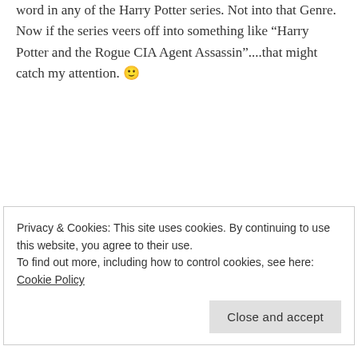word in any of the Harry Potter series. Not into that Genre. Now if the series veers off into something like “Harry Potter and the Rogue CIA Agent Assassin”....that might catch my attention. 🙂
★ Liked by 2 people
Reply
Chocoviv says:
Privacy & Cookies: This site uses cookies. By continuing to use this website, you agree to their use.
To find out more, including how to control cookies, see here: Cookie Policy
Close and accept